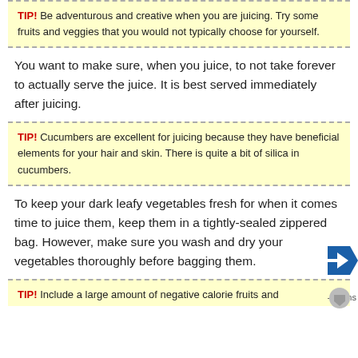TIP! Be adventurous and creative when you are juicing. Try some fruits and veggies that you would not typically choose for yourself.
You want to make sure, when you juice, to not take forever to actually serve the juice. It is best served immediately after juicing.
TIP! Cucumbers are excellent for juicing because they have beneficial elements for your hair and skin. There is quite a bit of silica in cucumbers.
To keep your dark leafy vegetables fresh for when it comes time to juice them, keep them in a tightly-sealed zippered bag. However, make sure you wash and dry your vegetables thoroughly before bagging them.
TIP! Include a large amount of negative calorie fruits and